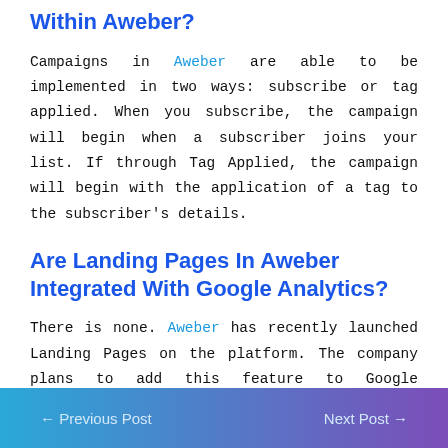Within Aweber?
Campaigns in Aweber are able to be implemented in two ways: subscribe or tag applied. When you subscribe, the campaign will begin when a subscriber joins your list. If through Tag Applied, the campaign will begin with the application of a tag to the subscriber’s details.
Are Landing Pages In Aweber Integrated With Google Analytics?
There is none. Aweber has recently launched Landing Pages on the platform. The company plans to add this feature to Google Analytics in due time. They are also planning to work together with Facebook Analytics as well.
← Previous Post    Next Post →